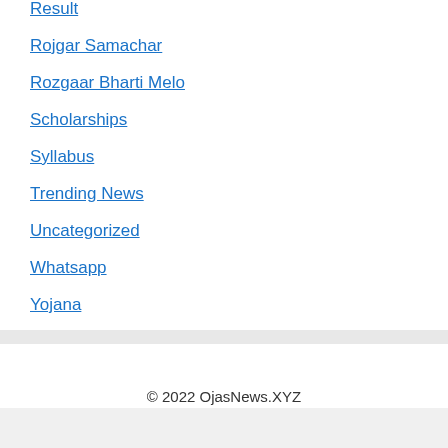Result
Rojgar Samachar
Rozgaar Bharti Melo
Scholarships
Syllabus
Trending News
Uncategorized
Whatsapp
Yojana
© 2022 OjasNews.XYZ